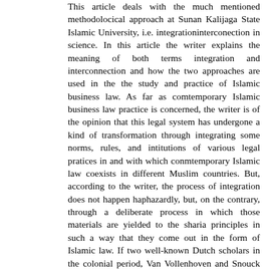This article deals with the much mentioned methodolocical approach at Sunan Kalijaga State Islamic University, i.e. integrationinterconection in science. In this article the writer explains the meaning of both terms integration and interconnection and how the two approaches are used in the the study and practice of Islamic business law. As far as comtemporary Islamic business law practice is concerned, the writer is of the opinion that this legal system has undergone a kind of transformation through integrating some norms, rules, and intitutions of various legal pratices in and with which conmtemporary Islamic law coexists in different Muslim countries. But, according to the writer, the process of integration does not happen haphazardly, but, on the contrary, through a deliberate process in which those materials are yielded to the sharia principles in such a way that they come out in the form of Islamic law. If two well-known Dutch scholars in the colonial period, Van Vollenhoven and Snouck Hurgronje, created the so-called reception theory to explain the applicability of Islamic law to Muslim Inlanders, it would be also apt to say that contemporary Islamic